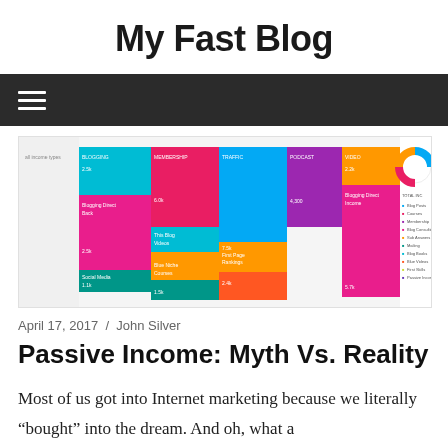My Fast Blog
[Figure (screenshot): A treemap or portfolio allocation chart showing colored blocks representing different asset or income categories with a donut chart on the right side. Colors include pink, blue, teal, orange, purple, and magenta.]
April 17, 2017 / John Silver
Passive Income: Myth Vs. Reality
Most of us got into Internet marketing because we literally “bought” into the dream. And oh, what a